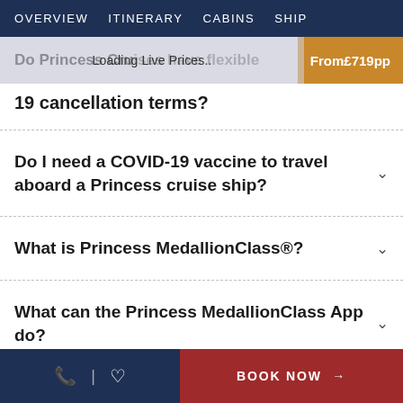OVERVIEW  ITINERARY  CABINS  SHIP
Do Princess Cruise...flexible  |  Loading Live Prices..  |  From £719pp
19 cancellation terms?
Do I need a COVID-19 vaccine to travel aboard a Princess cruise ship?
What is Princess MedallionClass®?
What can the Princess MedallionClass App do?
📞  |  ♡  BOOK NOW →